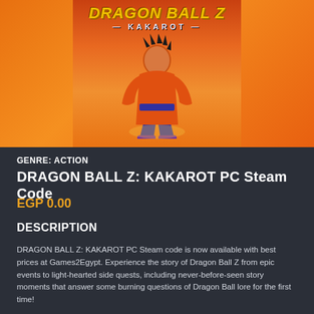[Figure (illustration): Dragon Ball Z: Kakarot game cover art showing the game logo at top with 'DRAGON BALL Z KAKAROT' text and a character (Goku) in orange gi against an orange background]
GENRE: ACTION
DRAGON BALL Z: KAKAROT PC Steam Code
EGP 0.00
DESCRIPTION
DRAGON BALL Z: KAKAROT PC Steam code is now available with best prices at Games2Egypt. Experience the story of Dragon Ball Z from epic events to light-hearted side quests, including never-before-seen story moments that answer some burning questions of Dragon Ball lore for the first time!